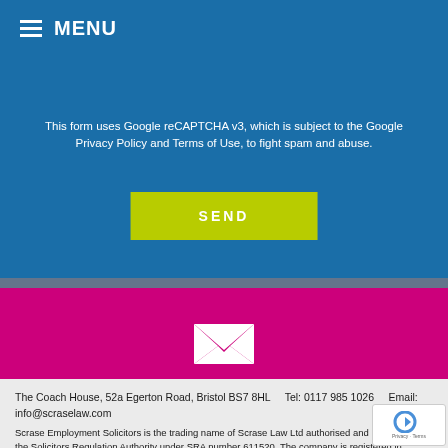MENU
This form uses Google reCAPTCHA v3, which is subject to the Google Privacy Policy and Terms of Use, to fight spam and abuse.
SEND
[Figure (illustration): White envelope/email icon on magenta background]
Sign up for our EMAIL ALERTS
The Coach House, 52a Egerton Road, Bristol BS7 8HL    Tel: 0117 985 1026    Email: info@scraselaw.com
Scrase Employment Solicitors is the trading name of Scrase Law Ltd authorised and regulated by the Solicitors Regulation Authority under SRA number 611520. The company is registered in England and Wales under company number 8814279 and its